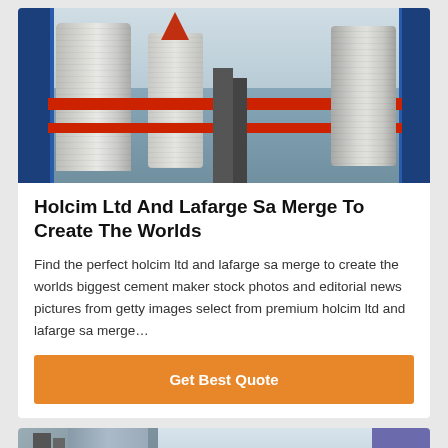[Figure (photo): Industrial photo of large cylindrical structures (likely cement or chemical plant equipment) with blue scaffolding and an orange/red conical structure in the background.]
Holcim Ltd And Lafarge Sa Merge To Create The Worlds
Find the perfect holcim ltd and lafarge sa merge to create the worlds biggest cement maker stock photos and editorial news pictures from getty images select from premium holcim ltd and lafarge sa merge…
Get Best Quote
[Figure (photo): Industrial factory or plant background image with equipment and structures.]
Leave Message
Chat Online